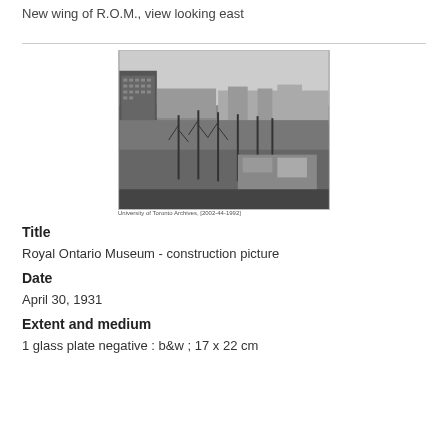New wing of R.O.M., view looking east
[Figure (photo): Black and white aerial/elevated photograph of construction site for the Royal Ontario Museum new wing, view looking east, showing surrounding city buildings and bare trees. Caption at bottom: University of Toronto Archives, [2002-44-1992]]
Title
Royal Ontario Museum - construction picture
Date
April 30, 1931
Extent and medium
1 glass plate negative : b&w ; 17 x 22 cm